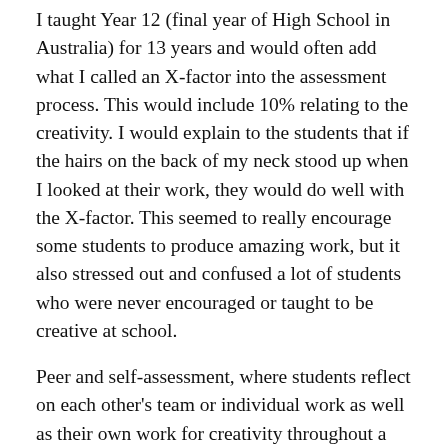I taught Year 12 (final year of High School in Australia) for 13 years and would often add what I called an X-factor into the assessment process. This would include 10% relating to the creativity. I would explain to the students that if the hairs on the back of my neck stood up when I looked at their work, they would do well with the X-factor. This seemed to really encourage some students to produce amazing work, but it also stressed out and confused a lot of students who were never encouraged or taught to be creative at school.
Peer and self-assessment, where students reflect on each other's team or individual work as well as their own work for creativity throughout a unit is an approach I regularly used. It gives students more agency and helps students to be more engaged in the learning process. When we ask students to self-assess, peer-assess and reflect, they get to think critically about their own creative growth and the growth of those around them.
Professor Alane Starko encourages the teachers she works with to have creativity as one of the items on an assessment